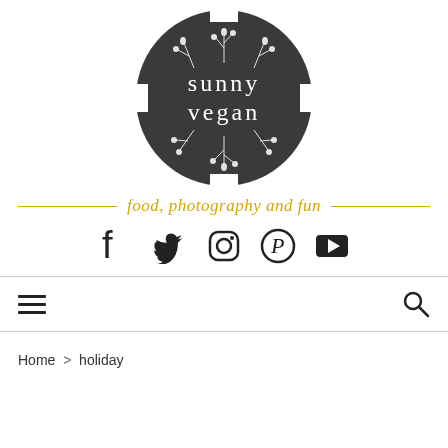[Figure (logo): Sunny Vegan circular logo with dark gray background, white floral/botanical decorative elements around the border, and white text reading 'sunny vegan' in the center]
food, photography and fun
[Figure (infographic): Social media icons: Facebook, Twitter, Instagram, Pinterest, YouTube]
[Figure (infographic): Navigation bar with hamburger menu icon on left and search magnifying glass icon on right]
Home > holiday